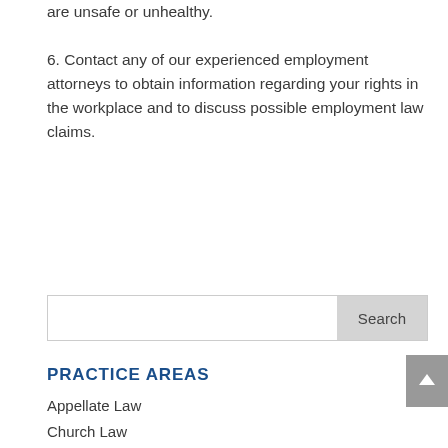are unsafe or unhealthy.
6. Contact any of our experienced employment attorneys to obtain information regarding your rights in the workplace and to discuss possible employment law claims.
Search
PRACTICE AREAS
Appellate Law
Church Law
Civil Litigation
Consumer Law
Corporate / Business Law
DUI/Criminal Defense